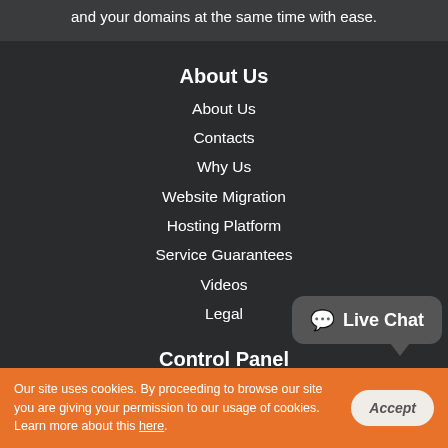and your domains at the same time with ease.
About Us
About Us
Contacts
Why Us
Website Migration
Hosting Platform
Service Guarantees
Videos
Legal
Control Panel
Web Hosting Control Panel
Hepsia vs cPanel
Our site uses cookies. By proceeding to browse our site you are giving your permission to our usage of cookies. Learn more about this here.